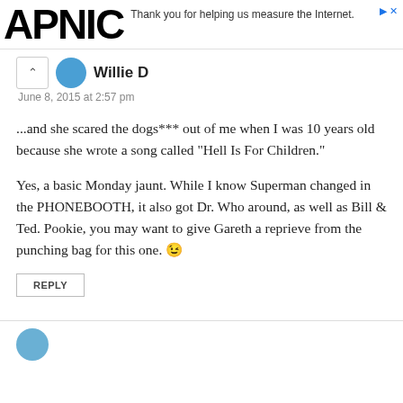APNIC - Thank you for helping us measure the Internet.
Willie D
June 8, 2015 at 2:57 pm
...and she scared the dogs*** out of me when I was 10 years old because she wrote a song called "Hell Is For Children."
Yes, a basic Monday jaunt. While I know Superman changed in the PHONEBOOTH, it also got Dr. Who around, as well as Bill & Ted. Pookie, you may want to give Gareth a reprieve from the punching bag for this one. 😉
REPLY